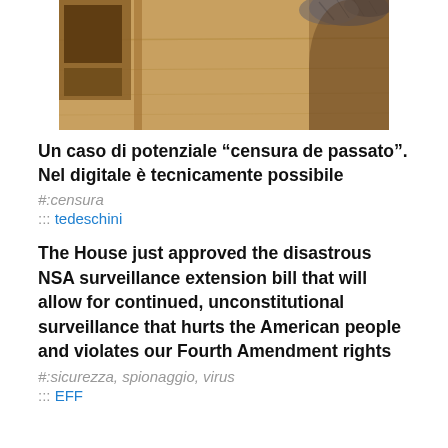[Figure (photo): A photo showing wooden furniture or shelving with a cat partially visible at the top right corner]
Un caso di potenziale “censura de passato”. Nel digitale è tecnicamente possibile
#:censura
::: tedeschini
The House just approved the disastrous NSA surveillance extension bill that will allow for continued, unconstitutional surveillance that hurts the American people and violates our Fourth Amendment rights
#:sicurezza, spionaggio, virus
::: EFF